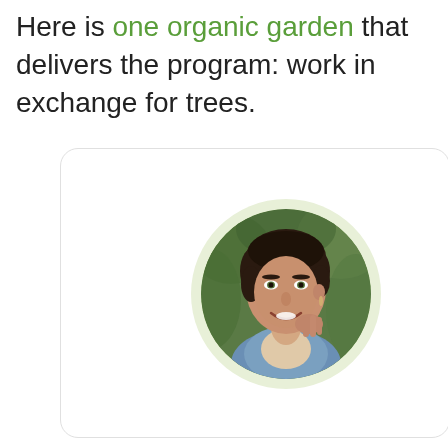Here is one organic garden that delivers the program: work in exchange for trees.
[Figure (photo): A smiling woman with short dark hair, wearing a denim jacket, photographed in an outdoor setting with greenery in the background. The photo is displayed in a circular crop with a light green circular background, inside a rounded-corner card.]